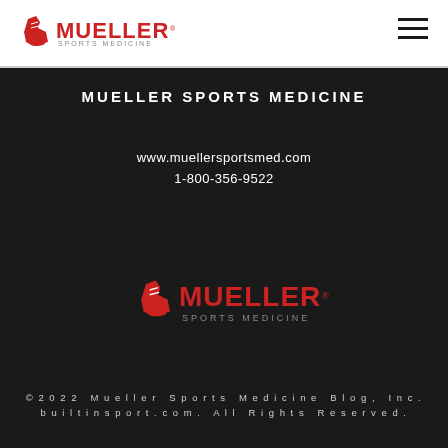Mueller Sports Medicine logo and navigation
MUELLER SPORTS MEDICINE
www.muellersportsmed.com
1-800-356-9522
[Figure (logo): Mueller Sports Medicine logo with boot graphic on dark background]
© 2022 Mueller Sports Medicine Blog, Inc. builtinsport.com. All Rights Reserved.